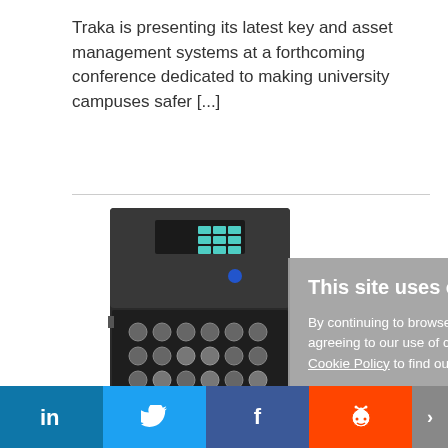Traka is presenting its latest key and asset management systems at a forthcoming conference dedicated to making university campuses safer [...]
[Figure (photo): Photo of a key management cabinet — a dark metal cabinet unit with a numeric keypad on top and rows of circular key hooks inside, photographed from the front.]
[Figure (screenshot): Cookie consent overlay box with title 'This site uses cookies', body text 'By continuing to browse the site you are agreeing to our use of cookies. Read our Cookie Policy to find out more.', and a dark rounded 'I AGREE' button.]
ASSA ABLOY ac... specialist KEYper Systems
January 15, 2019
in  [Twitter bird]  f  [Reddit alien]  >